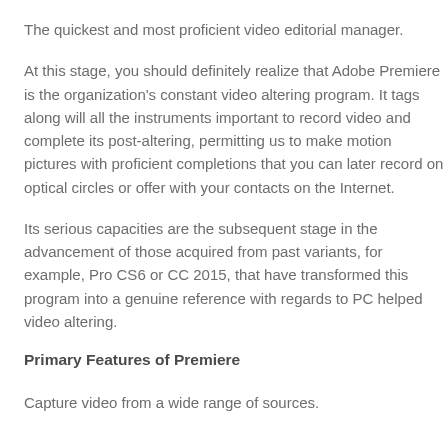The quickest and most proficient video editorial manager.
At this stage, you should definitely realize that Adobe Premiere is the organization's constant video altering program. It tags along will all the instruments important to record video and complete its post-altering, permitting us to make motion pictures with proficient completions that you can later record on optical circles or offer with your contacts on the Internet.
Its serious capacities are the subsequent stage in the advancement of those acquired from past variants, for example, Pro CS6 or CC 2015, that have transformed this program into a genuine reference with regards to PC helped video altering.
Primary Features of Premiere
Capture video from a wide range of sources.